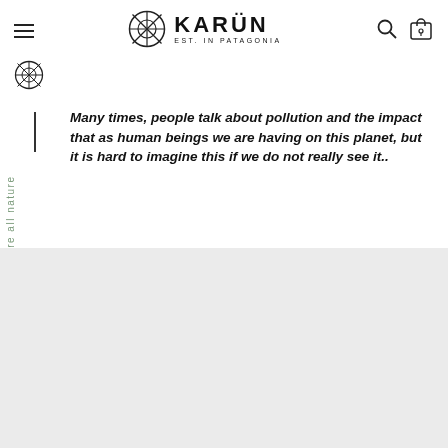KARÜN — EST. IN PATAGONIA
Many times, people talk about pollution and the impact that as human beings we are having on this planet, but it is hard to imagine this if we do not really see it..
We are all nature
Many times, people talk about pollution and the impact that as human beings we are having on this planet, but it is hard to imagine this if we do not really see it.
Currently, Chile is one of the countries with the best coverage of residential waste removal with a reach of 97.7%. Sounds